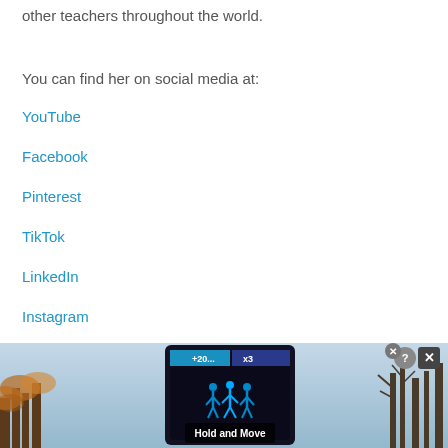other teachers throughout the world.
You can find her on social media at:
YouTube
Facebook
Pinterest
TikTok
LinkedIn
Instagram
[Figure (photo): Advertisement banner showing a mobile game 'Hold and Move' with a dark device screen displaying blue figure icons, set against a winter outdoor background with bare trees. Has close/help buttons in top right corner.]